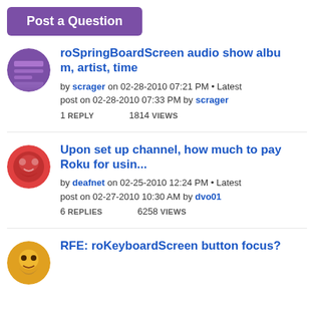Post a Question
roSpringBoardScreen audio show album, artist, time
by scrager on 02-28-2010 07:21 PM • Latest post on 02-28-2010 07:33 PM by scrager
1 REPLY    1814 VIEWS
Upon set up channel, how much to pay Roku for usin...
by deafnet on 02-25-2010 12:24 PM • Latest post on 02-27-2010 10:30 AM by dvo01
6 REPLIES    6258 VIEWS
RFE: roKeyboardScreen button focus?